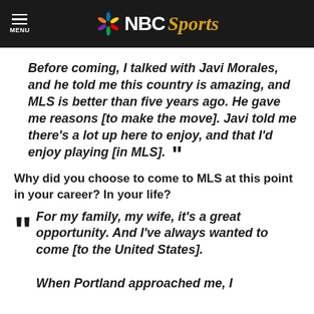NBC Sports
Before coming, I talked with Javi Morales, and he told me this country is amazing, and MLS is better than five years ago. He gave me reasons [to make the move]. Javi told me there’s a lot up here to enjoy, and that I’d enjoy playing [in MLS].
Why did you choose to come to MLS at this point in your career? In your life?
For my family, my wife, it’s a great opportunity. And I’ve always wanted to come [to the United States]. When Portland approached me, I